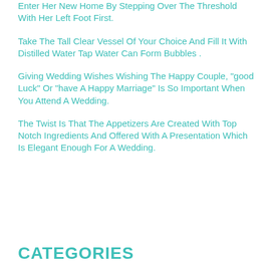Enter Her New Home By Stepping Over The Threshold With Her Left Foot First.
Take The Tall Clear Vessel Of Your Choice And Fill It With Distilled Water Tap Water Can Form Bubbles .
Giving Wedding Wishes Wishing The Happy Couple, "good Luck" Or "have A Happy Marriage" Is So Important When You Attend A Wedding.
The Twist Is That The Appetizers Are Created With Top Notch Ingredients And Offered With A Presentation Which Is Elegant Enough For A Wedding.
CATEGORIES